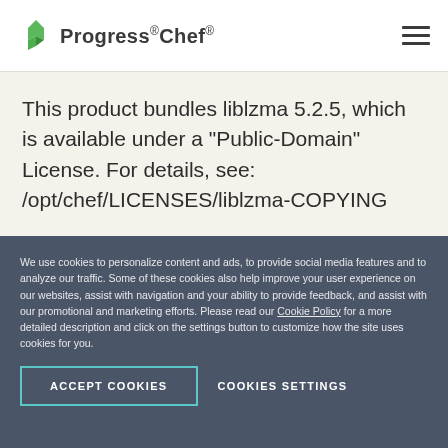Progress Chef
This product bundles liblzma 5.2.5, which is available under a "Public-Domain" License. For details, see: /opt/chef/LICENSES/liblzma-COPYING
This product bundles libxml2 2.9.10, which is available under a "MIT" License. For details, see:
We use cookies to personalize content and ads, to provide social media features and to analyze our traffic. Some of these cookies also help improve your user experience on our websites, assist with navigation and your ability to provide feedback, and assist with our promotional and marketing efforts. Please read our Cookie Policy for a more detailed description and click on the settings button to customize how the site uses cookies for you.
ACCEPT COOKIES
COOKIES SETTINGS